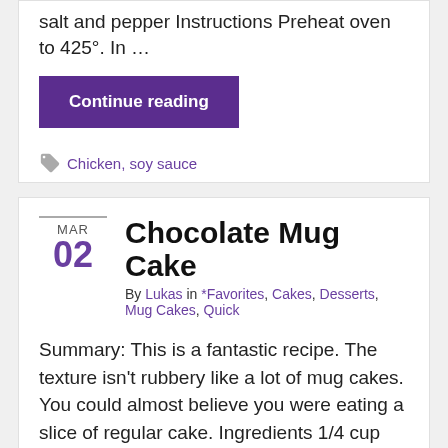salt and pepper Instructions Preheat oven to 425°. In …
Continue reading
Chicken, soy sauce
Chocolate Mug Cake
By Lukas in *Favorites, Cakes, Desserts, Mug Cakes, Quick
Summary: This is a fantastic recipe. The texture isn't rubbery like a lot of mug cakes. You could almost believe you were eating a slice of regular cake. Ingredients 1/4 cup chocolate chips 3 1/2 tbsp milk 2 1/2 tbsp all purpose flour 1/4 tsp baking powder Instructions Combine chocolate chips and milk in a